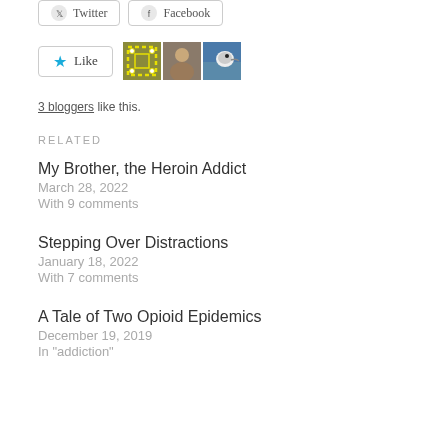[Figure (screenshot): Social sharing buttons: Twitter and Facebook buttons side by side]
[Figure (screenshot): Like button with star icon, followed by three blogger avatar thumbnails]
3 bloggers like this.
RELATED
My Brother, the Heroin Addict
March 28, 2022
With 9 comments
Stepping Over Distractions
January 18, 2022
With 7 comments
A Tale of Two Opioid Epidemics
December 19, 2019
In "addiction"